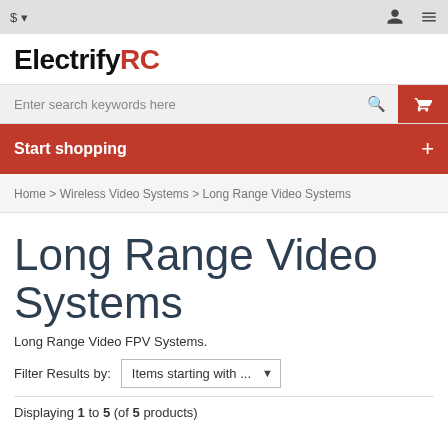$ ▾
[Figure (logo): ElectrifyRC logo with Electrify in black bold and RC in red bold]
Enter search keywords here
Start shopping +
Home > Wireless Video Systems > Long Range Video Systems
Long Range Video Systems
Long Range Video FPV Systems.
Filter Results by: Items starting with ...
Displaying 1 to 5 (of 5 products)